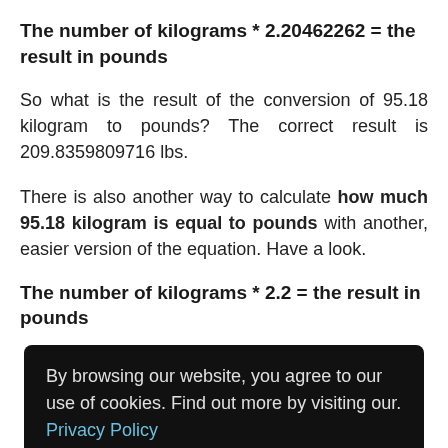The number of kilograms * 2.20462262 = the result in pounds
So what is the result of the conversion of 95.18 kilogram to pounds? The correct result is 209.8359809716 lbs.
There is also another way to calculate how much 95.18 kilogram is equal to pounds with another, easier version of the equation. Have a look.
The number of kilograms * 2.2 = the result in pounds
By browsing our website, you agree to our use of cookies. Find out more by visiting our. Privacy Policy here. Accept
make the rest for you and give you an accurate result